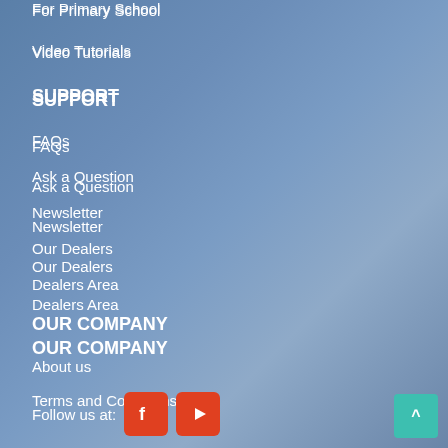For Primary School
Video Tutorials
SUPPORT
FAQs
Ask a Question
Newsletter
Our Dealers
Dealers Area
OUR COMPANY
About us
Terms and Conditions
Privacy Policy
Contact us
Follow us at: